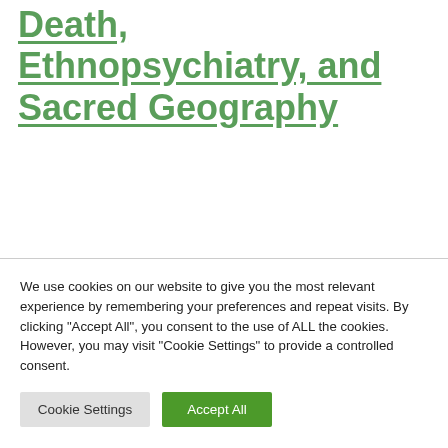Death, Ethnopsychiatry, and Sacred Geography
We use cookies on our website to give you the most relevant experience by remembering your preferences and repeat visits. By clicking “Accept All”, you consent to the use of ALL the cookies. However, you may visit “Cookie Settings” to provide a controlled consent.